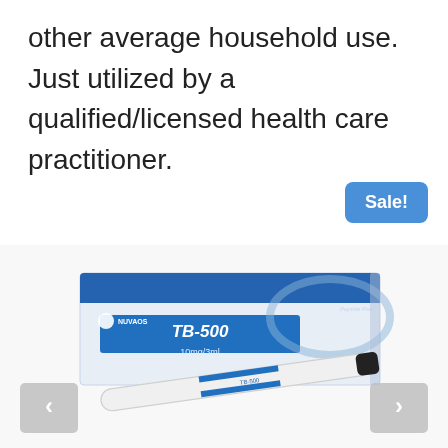other average household use. Just utilized by a qualified/licensed health care practitioner.
[Figure (photo): Product photo of Nuvaos TB-500 10mg/3ml peptide pen injector next to its blue and white branded box. A 'Sale!' badge in blue is shown in the upper-right corner. Navigation arrows (< >) are visible on the left and right sides.]